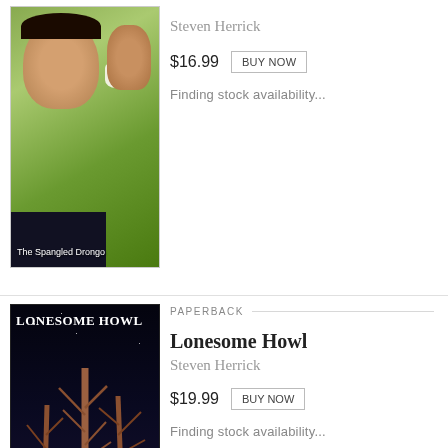[Figure (photo): Book cover of The Spangled Drongo showing a child with a bird]
Steven Herrick
$16.99
BUY NOW
Finding stock availability...
PAPERBACK
[Figure (photo): Book cover of Lonesome Howl showing trees against dark sky with author name Steven Herrick at bottom]
Lonesome Howl
Steven Herrick
$19.99
BUY NOW
Finding stock availability...
PAPERBACK
[Figure (photo): Book cover of Love, Ghosts and Nose Hair showing two silhouettes about to kiss with orange/fire tones]
Love, Ghosts & Nose Hair
Steven Herrick, Gregory Rodgers
$19.95
BUY NOW